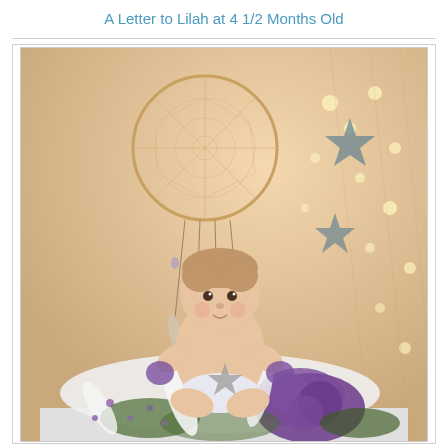A Letter to Lilah at 4 1/2 Months Old
[Figure (photo): A baby sitting on a white fabric-covered surface surrounded by purple flowers and white feathers, in front of a backdrop with string fairy lights and hanging star decorations. A large dream catcher hangs from above.]